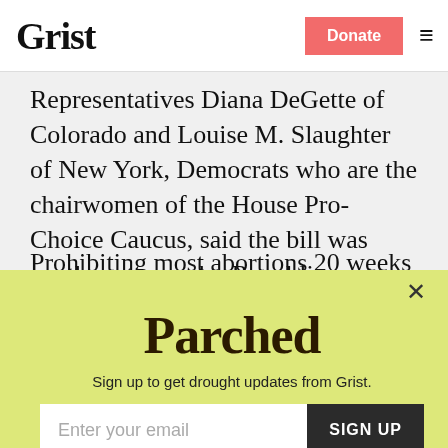Grist | Donate
Representatives Diana DeGette of Colorado and Louise M. Slaughter of New York, Democrats who are the chairwomen of the House Pro-Choice Caucus, said the bill was another attempt by Republicans to erect barriers to medical care for women.
Prohibiting most abortions 20 weeks after
[Figure (screenshot): Parched newsletter signup modal on yellow-green background. Title: Parched. Subtitle: Sign up to get drought updates from Grist. Email input field with placeholder 'Enter your email' and a dark 'SIGN UP' button. 'No thanks' link at bottom.]
No thanks